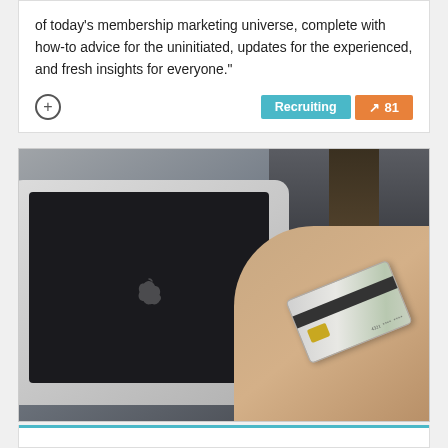of today's membership marketing universe, complete with how-to advice for the uninitiated, updates for the experienced, and fresh insights for everyone."
[Figure (photo): Photo of a person holding a credit card in front of an open Apple MacBook laptop, suggesting online shopping or payment]